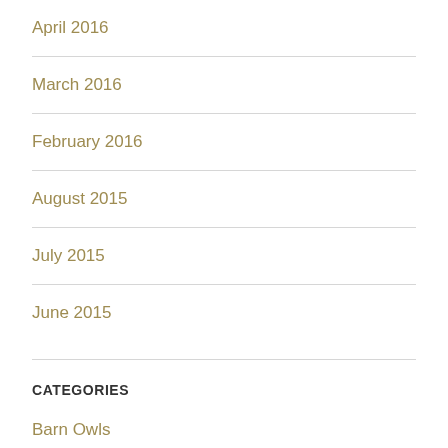April 2016
March 2016
February 2016
August 2015
July 2015
June 2015
CATEGORIES
Barn Owls